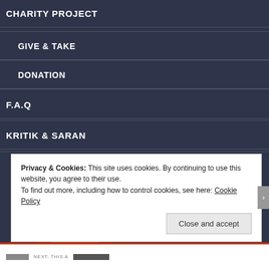CHARITY PROJECT
GIVE & TAKE
DONATION
F.A.Q
KRITIK & SARAN
[Figure (illustration): Red sticker reading COMMENT LIKE OXYGEN over a partial photo of a person's head, shown on a dark navy background. Photobucket watermark visible.]
Privacy & Cookies: This site uses cookies. By continuing to use this website, you agree to their use.
To find out more, including how to control cookies, see here: Cookie Policy
Close and accept